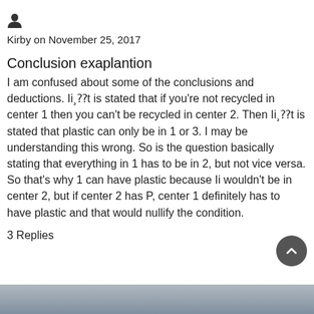[Figure (illustration): User/person icon (silhouette)]
Kirby on November 25, 2017
Conclusion exaplantion
I am confused about some of the conclusions and deductions. Ii¸⁇t is stated that if you're not recycled in center 1 then you can't be recycled in center 2. Then Ii¸⁇t is stated that plastic can only be in 1 or 3. I may be understanding this wrong. So is the question basically stating that everything in 1 has to be in 2, but not vice versa. So that's why 1 can have plastic because Ii wouldn't be in center 2, but if center 2 has P, center 1 definitely has to have plastic and that would nullify the condition.
3 Replies
[Figure (photo): Partially visible image at bottom of page]